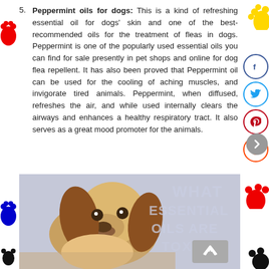Peppermint oils for dogs: This is a kind of refreshing essential oil for dogs' skin and one of the best-recommended oils for the treatment of fleas in dogs. Peppermint is one of the popularly used essential oils you can find for sale presently in pet shops and online for dog flea repellent. It has also been proved that Peppermint oil can be used for the cooling of aching muscles, and invigorate tired animals. Peppermint, when diffused, refreshes the air, and while used internally clears the airways and enhances a healthy respiratory tract. It also serves as a great mood promoter for the animals.
[Figure (photo): Photo of a Cocker Spaniel dog with text overlay reading WHAT ESSENTIAL OILS ARE TOXIC]